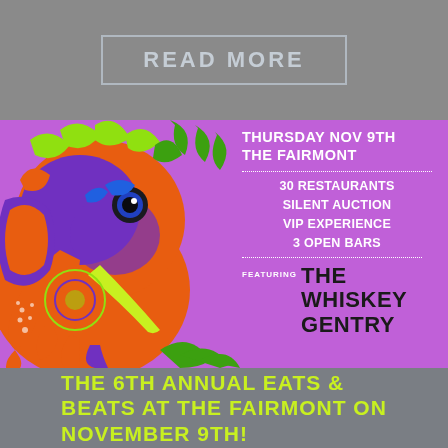READ MORE
[Figure (illustration): Colorful psychedelic mandala-style elephant illustration in neon green, orange, purple and blue on a purple background. Event poster for 6th Annual Eats & Beats at The Fairmont.]
THURSDAY NOV 9TH THE FAIRMONT
30 RESTAURANTS
SILENT AUCTION
VIP EXPERIENCE
3 OPEN BARS
FEATURING THE WHISKEY GENTRY
THE 6TH ANNUAL EATS & BEATS AT THE FAIRMONT ON NOVEMBER 9TH!